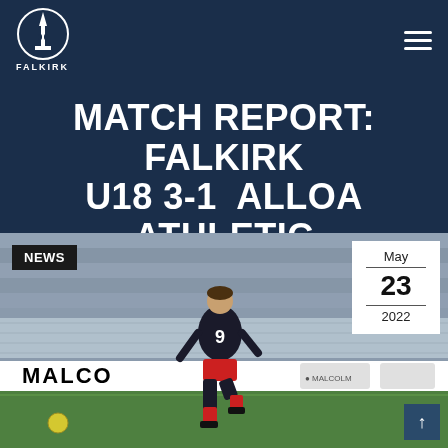FALKIRK
MATCH REPORT: FALKIRK U18 3-1 ALLOA ATHLETIC U18
[Figure (photo): Football player wearing number 9 dark jersey and red shorts, kicking a ball on a grass pitch. Malcolm Logistics advertising board visible in background. NEWS badge top-left, date box showing May 23 2022 top-right.]